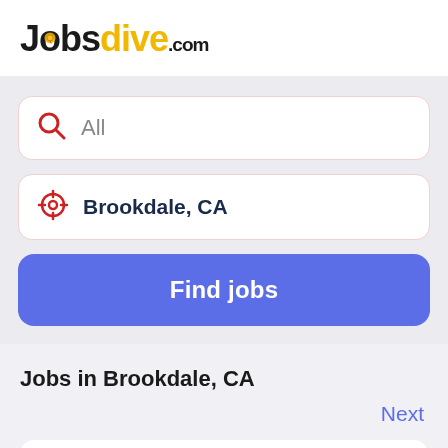[Figure (logo): Jobsdive.com logo with 'Jobs' in black bold, 'dive' in yellow/gold bold, '.com' in black, and a small circular icon inside the 'o' of Jobs]
All
Brookdale, CA
Find jobs
Jobs in Brookdale, CA
Next